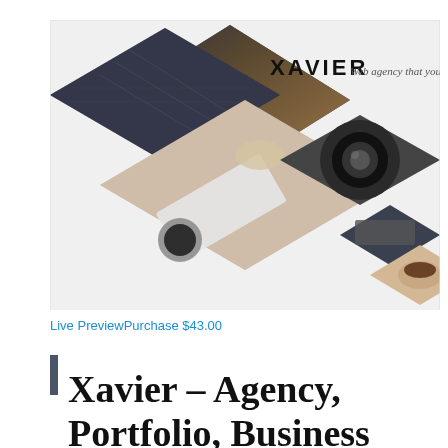[Figure (screenshot): Screenshot of the Xavier web agency WordPress theme preview showing diamond-shaped collage of workspace/desk photos with the text 'XAVIER Web agency that you need' in the upper right area of the image.]
Live PreviewPurchase $43.00
Xavier – Agency, Portfolio, Business